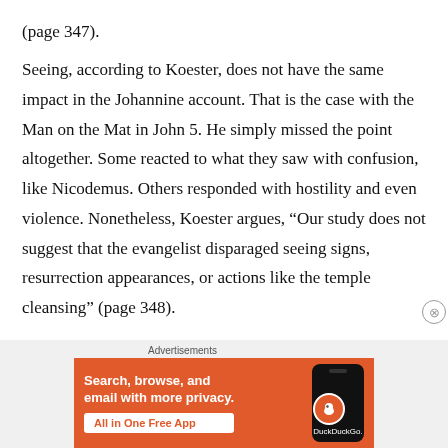(page 347).
Seeing, according to Koester, does not have the same impact in the Johannine account. That is the case with the Man on the Mat in John 5. He simply missed the point altogether. Some reacted to what they saw with confusion, like Nicodemus. Others responded with hostility and even violence. Nonetheless, Koester argues, “Our study does not suggest that the evangelist disparaged seeing signs, resurrection appearances, or actions like the temple cleansing” (page 348).
[Figure (other): DuckDuckGo advertisement banner with orange background showing text: 'Search, browse, and email with more privacy. All in One Free App' alongside a phone mockup with the DuckDuckGo logo and name.]